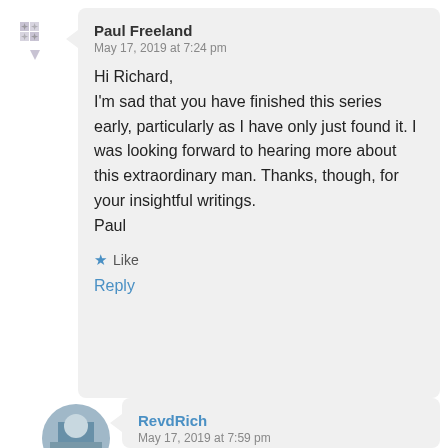Paul Freeland
May 17, 2019 at 7:24 pm

Hi Richard,
I'm sad that you have finished this series early, particularly as I have only just found it. I was looking forward to hearing more about this extraordinary man. Thanks, though, for your insightful writings.
Paul

★ Like

Reply
RevdRich
May 17, 2019 at 7:59 pm